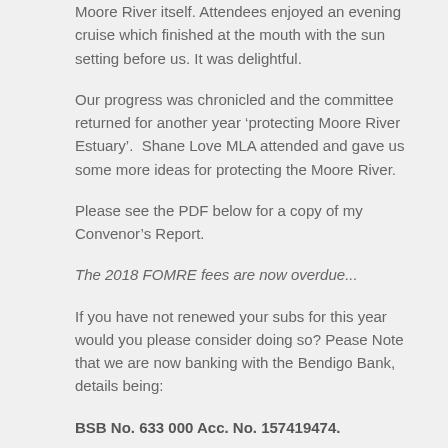Moore River itself. Attendees enjoyed an evening cruise which finished at the mouth with the sun setting before us. It was delightful.
Our progress was chronicled and the committee returned for another year ‘protecting Moore River Estuary’.  Shane Love MLA attended and gave us some more ideas for protecting the Moore River.
Please see the PDF below for a copy of my Convenor’s Report.
The 2018 FOMRE fees are now overdue...
If you have not renewed your subs for this year would you please consider doing so? Pease Note that we are now banking with the Bendigo Bank, details being:
BSB No. 633 000 Acc. No. 157419474.
New members are always welcome.  Follow